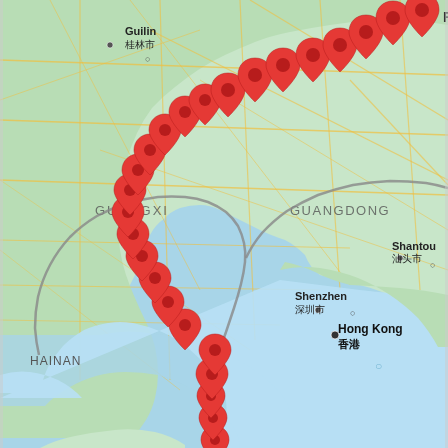[Figure (map): Google Maps screenshot showing a typhoon track (series of red location pin markers connected by a gray line) moving from the South China Sea northward through Hainan, Guangxi, and Guangdong provinces in southern China. The track curves from south to northeast. Major labeled locations include Guilin (桂林市), Guangxi, Guangdong, Shenzhen (深圳市), Hong Kong (香港), Shantou (汕头市), and Hainan.]